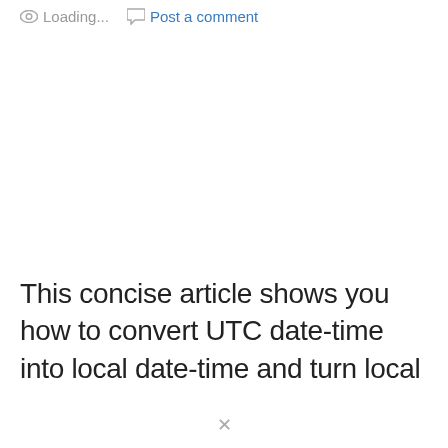Loading...  Post a comment
This concise article shows you how to convert UTC date-time into local date-time and turn local